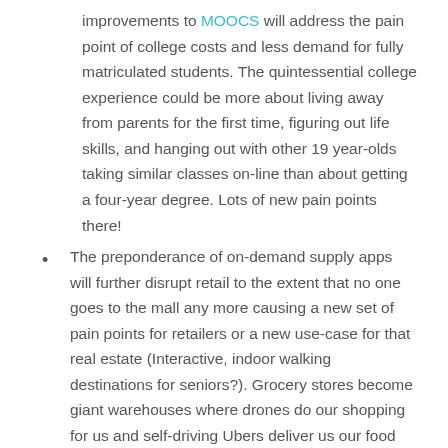improvements to MOOCS will address the pain point of college costs and less demand for fully matriculated students. The quintessential college experience could be more about living away from parents for the first time, figuring out life skills, and hanging out with other 19 year-olds taking similar classes on-line than about getting a four-year degree. Lots of new pain points there!
The preponderance of on-demand supply apps will further disrupt retail to the extent that no one goes to the mall any more causing a new set of pain points for retailers or a new use-case for that real estate (Interactive, indoor walking destinations for seniors?). Grocery stores become giant warehouses where drones do our shopping for us and self-driving Ubers deliver us our food and supplies any time of day and